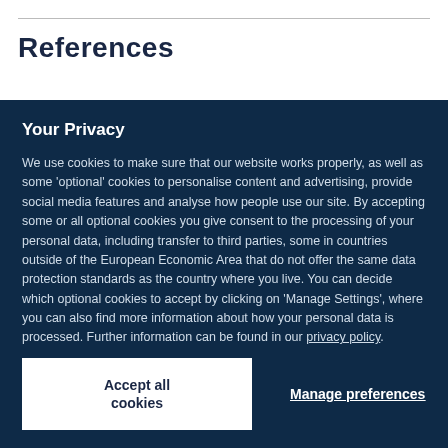References
Your Privacy
We use cookies to make sure that our website works properly, as well as some ‘optional’ cookies to personalise content and advertising, provide social media features and analyse how people use our site. By accepting some or all optional cookies you give consent to the processing of your personal data, including transfer to third parties, some in countries outside of the European Economic Area that do not offer the same data protection standards as the country where you live. You can decide which optional cookies to accept by clicking on ‘Manage Settings’, where you can also find more information about how your personal data is processed. Further information can be found in our privacy policy.
Accept all cookies
Manage preferences